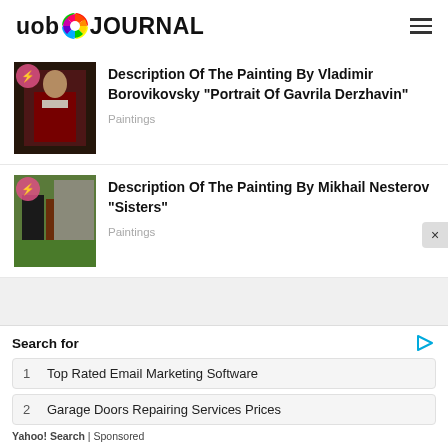uob JOURNAL
[Figure (photo): Portrait painting thumbnail - Vladimir Borovikovsky portrait of Gavrila Derzhavin]
Description Of The Painting By Vladimir Borovikovsky "Portrait Of Gavrila Derzhavin"
Paintings
[Figure (photo): Painting thumbnail - Mikhail Nesterov Sisters]
Description Of The Painting By Mikhail Nesterov "Sisters"
Paintings
Search for
1  Top Rated Email Marketing Software
2  Garage Doors Repairing Services Prices
Yahoo! Search | Sponsored